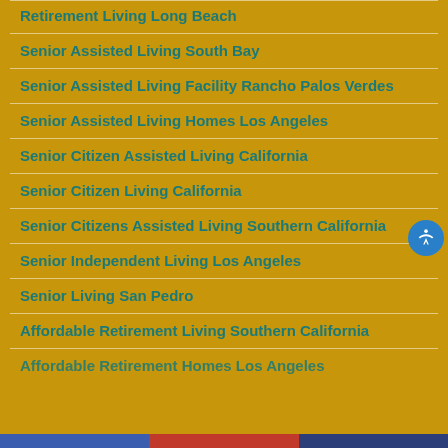Retirement Living Long Beach
Senior Assisted Living South Bay
Senior Assisted Living Facility Rancho Palos Verdes
Senior Assisted Living Homes Los Angeles
Senior Citizen Assisted Living California
Senior Citizen Living California
Senior Citizens Assisted Living Southern California
Senior Independent Living Los Angeles
Senior Living San Pedro
Affordable Retirement Living Southern California
Affordable Retirement Homes Los Angeles